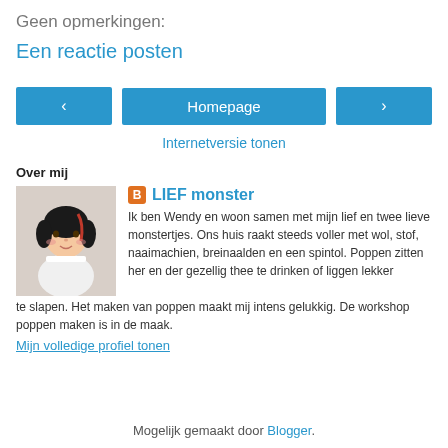Geen opmerkingen:
Een reactie posten
[Figure (other): Navigation buttons: left arrow, Homepage, right arrow]
Internetversie tonen
Over mij
[Figure (photo): Profile photo of a handmade doll with dark hair and a white dress]
LIEF monster
Ik ben Wendy en woon samen met mijn lief en twee lieve monstertjes. Ons huis raakt steeds voller met wol, stof, naaimachien, breinaalden en een spintol. Poppen zitten her en der gezellig thee te drinken of liggen lekker te slapen. Het maken van poppen maakt mij intens gelukkig. De workshop poppen maken is in de maak.
Mijn volledige profiel tonen
Mogelijk gemaakt door Blogger.